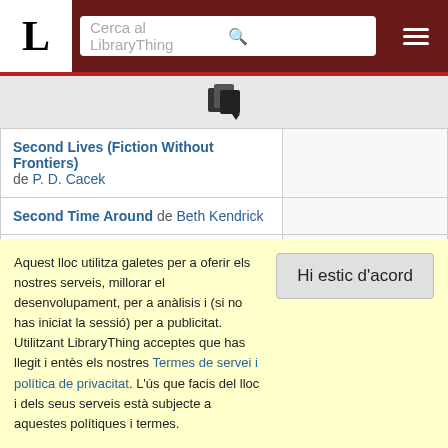[Figure (screenshot): LibraryThing website header with logo L, search bar reading 'Cerca al LibraryThing', search icon, and hamburger menu on dark red background]
[Figure (other): Small icon of stacked documents with a dropdown arrow, on light gray background]
| Book |  |
| --- | --- |
| Second Lives (Fiction Without Frontiers) de P. D. Cacek |  |
| Second Time Around de Beth Kendrick |  |
| Seductive Menage Collection de Maxene Novak |  |
| Semper Fidelis (Anthology 6-in-1) de T.A. Chase |  |
Aquest lloc utilitza galetes per a oferir els nostres serveis, millorar el desenvolupament, per a anàlisis i (si no has iniciat la sessió) per a publicitat. Utilitzant LibraryThing acceptes que has llegit i entès els nostres Termes de servei i política de privacitat. L'ús que facis del lloc i dels seus serveis està subjecte a aquestes polítiques i termes.